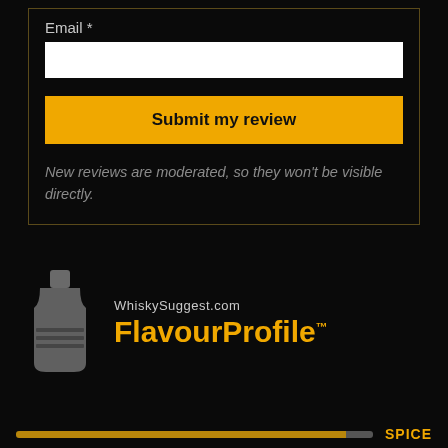Email *
Submit my review
New reviews are moderated, so they won't be visible directly.
[Figure (logo): WhiskySuggest.com FlavourProfile logo with whisky bottle icon and gold text]
SPICE